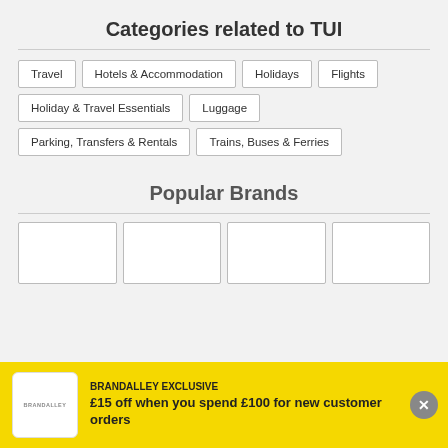Categories related to TUI
Travel
Hotels & Accommodation
Holidays
Flights
Holiday & Travel Essentials
Luggage
Parking, Transfers & Rentals
Trains, Buses & Ferries
Popular Brands
[Figure (other): Brand logo boxes (partially visible brand cards)]
BRANDALLEY EXCLUSIVE
£15 off when you spend £100 for new customer orders